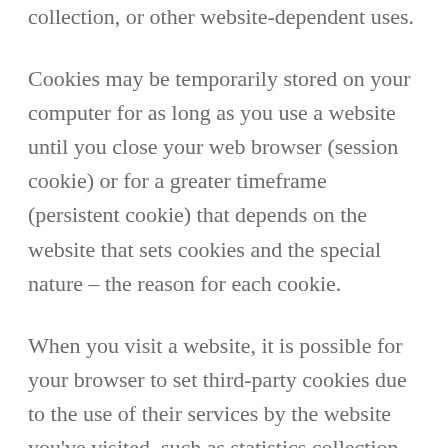collection, or other website-dependent uses.
Cookies may be temporarily stored on your computer for as long as you use a website until you close your web browser (session cookie) or for a greater timeframe (persistent cookie) that depends on the website that sets cookies and the special nature – the reason for each cookie.
When you visit a website, it is possible for your browser to set third-party cookies due to the use of their services by the website you've visited, such as statistics collection services, social networking website linking,